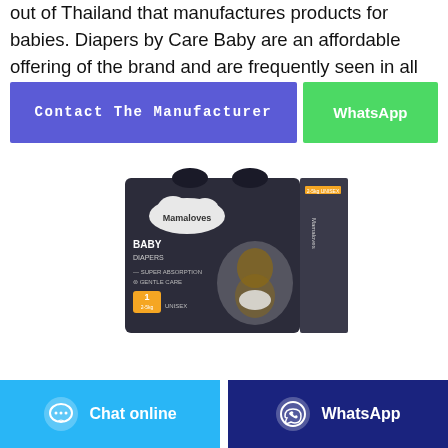out of Thailand that manufactures products for babies. Diapers by Care Baby are an affordable offering of the brand and are frequently seen in all
Contact The Manufacturer
WhatsApp
[Figure (photo): Mamaloves Baby Diapers product box - dark packaging showing a baby, with text: BABY DIAPERS, SUPER ABSORPTION, GENTLE CARE, Size 1 2-5kg UNISEX]
Chat online
WhatsApp